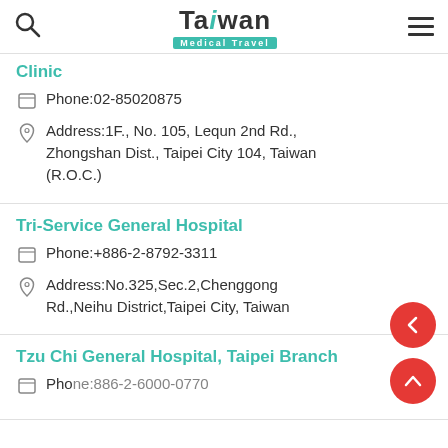Taiwan Medical Travel
Clinic
Phone:02-85020875
Address:1F., No. 105, Lequn 2nd Rd., Zhongshan Dist., Taipei City 104, Taiwan (R.O.C.)
Tri-Service General Hospital
Phone:+886-2-8792-3311
Address:No.325,Sec.2,Chenggong Rd.,Neihu District,Taipei City, Taiwan
Tzu Chi General Hospital, Taipei Branch
Phone:886-2-6000-0770